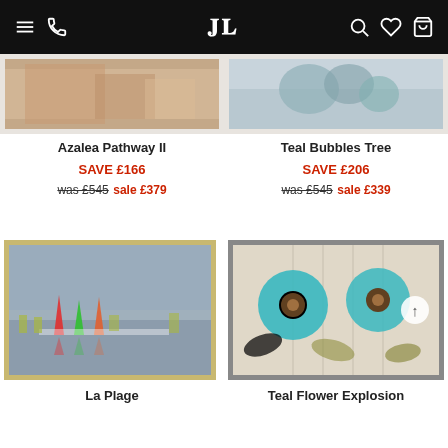Navigation bar with menu, phone, logo JL, search, wishlist, cart icons
[Figure (photo): Azalea Pathway II artwork in white frame - partial top crop]
Azalea Pathway II
SAVE £166
was £545 sale £379
[Figure (photo): Teal Bubbles Tree artwork in white frame - partial top crop]
Teal Bubbles Tree
SAVE £206
was £545 sale £339
[Figure (photo): La Plage artwork - coastal scene with sailboats in silver/gold frame]
La Plage
[Figure (photo): Teal Flower Explosion artwork - two large teal flowers in grey frame]
Teal Flower Explosion